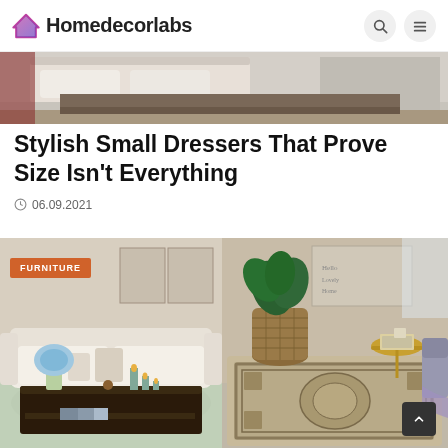Homedecorlabs
[Figure (photo): Partial view of a bedroom with bed and wooden dresser, hero image strip]
Stylish Small Dressers That Prove Size Isn't Everything
06.09.2021
[Figure (photo): Living room with white sofa, dark wood coffee table with candles and blue hydrangea]
[Figure (photo): Room with ornate area rug, wicker basket with plant, gold side table]